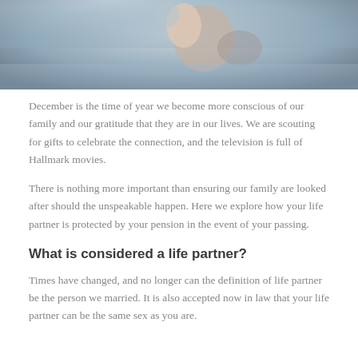[Figure (photo): A couple embracing outdoors, one person lifting the other, with a soft blurred background suggesting a beach or outdoor setting.]
December is the time of year we become more conscious of our family and our gratitude that they are in our lives. We are scouting for gifts to celebrate the connection, and the television is full of Hallmark movies.
There is nothing more important than ensuring our family are looked after should the unspeakable happen. Here we explore how your life partner is protected by your pension in the event of your passing.
What is considered a life partner?
Times have changed, and no longer can the definition of life partner be the person we married. It is also accepted now in law that your life partner can be the same sex as you are.